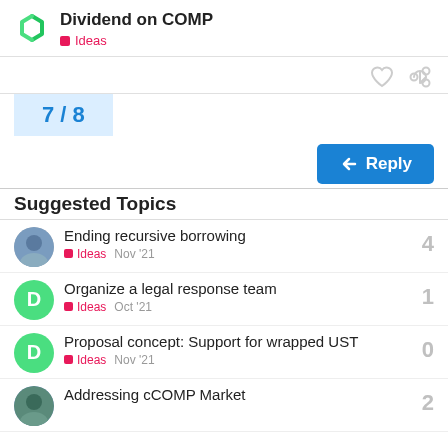Dividend on COMP — Ideas
7 / 8
Reply
Suggested Topics
Ending recursive borrowing — Ideas — Nov '21 — 4
Organize a legal response team — Ideas — Oct '21 — 1
Proposal concept: Support for wrapped UST — Ideas — Nov '21 — 0
Addressing cCOMP Market — 2